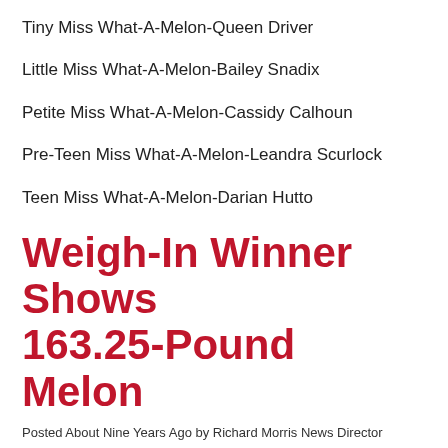Tiny Miss What-A-Melon-Queen Driver
Little Miss What-A-Melon-Bailey Snadix
Petite Miss What-A-Melon-Cassidy Calhoun
Pre-Teen Miss What-A-Melon-Leandra Scurlock
Teen Miss What-A-Melon-Darian Hutto
Weigh-In Winner Shows 163.25-Pound Melon
Posted About Nine Years Ago by Richard Morris News Director
Incoming Center School District 7th Grader Olivia